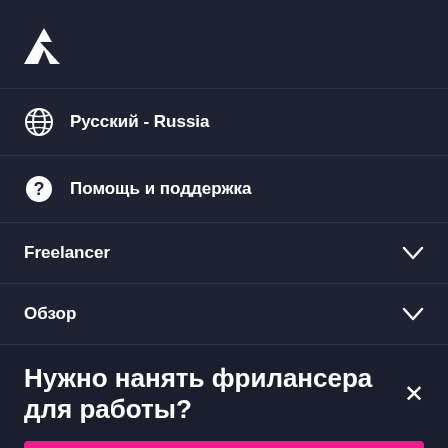[Figure (logo): Freelancer.com bird logo icon in white on dark background]
🌐 Русский - Russia
❓ Помощь и поддержка
Freelancer ∨
Обзор ∨
Нужно нанять фрилансера для работы?✕
Опубликовать проект